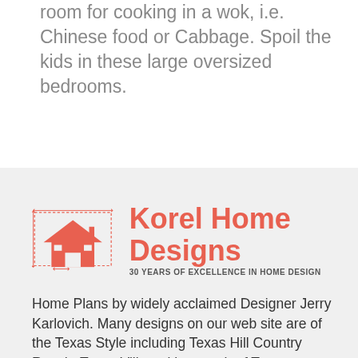room for cooking in a wok, i.e. Chinese food or Cabbage. Spoil the kids in these large oversized bedrooms.
[Figure (logo): Korel Home Designs logo with a red house icon and text reading 'Korel Home Designs' and tagline '30 YEARS OF EXCELLENCE IN HOME DESIGN']
Home Plans by widely acclaimed Designer Jerry Karlovich. Many designs on our web site are of the Texas Style including Texas Hill Country Ranch, Texas Villas with a touch of Tuscan, Country French and Old World Designs. Click and find your absolutely beautiful Dream Home now. House Plans for Texas, House Plans for